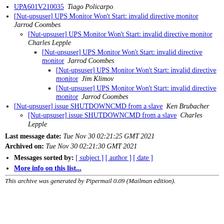[...][...] UPA601V210035  Tiago Policarpo
[Nut-upsuser] UPS Monitor Won't Start: invalid directive monitor  Jarrod Coombes
[Nut-upsuser] UPS Monitor Won't Start: invalid directive monitor  Charles Lepple
[Nut-upsuser] UPS Monitor Won't Start: invalid directive monitor  Jarrod Coombes
[Nut-upsuser] UPS Monitor Won't Start: invalid directive monitor  Jim Klimov
[Nut-upsuser] UPS Monitor Won't Start: invalid directive monitor  Jarrod Coombes
[Nut-upsuser] issue SHUTDOWNCMD from a slave  Ken Brubacher
[Nut-upsuser] issue SHUTDOWNCMD from a slave  Charles Lepple
Last message date: Tue Nov 30 02:21:25 GMT 2021
Archived on: Tue Nov 30 02:21:30 GMT 2021
Messages sorted by: [ subject ] [ author ] [ date ]
More info on this list...
This archive was generated by Pipermail 0.09 (Mailman edition).